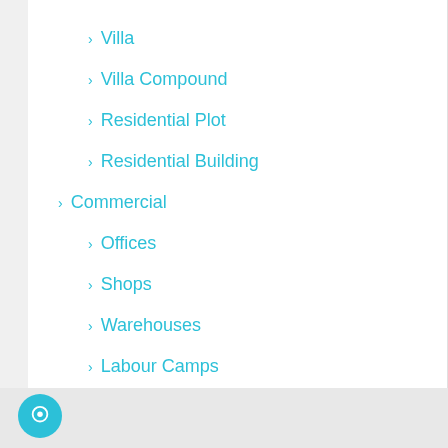Villa
Villa Compound
Residential Plot
Residential Building
Commercial
Offices
Shops
Warehouses
Labour Camps
Commercial Villa